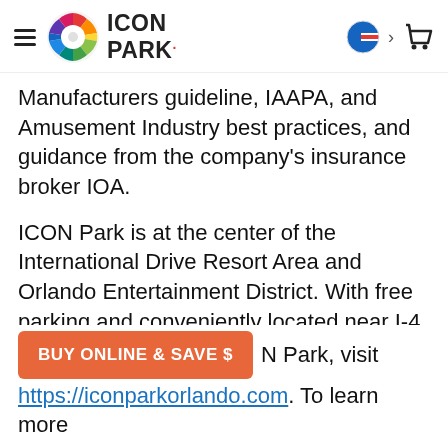ICON PARK
Manufacturers guideline, IAAPA, and Amusement Industry best practices, and guidance from the company’s insurance broker IOA.
ICON Park is at the center of the International Drive Resort Area and Orlando Entertainment District. With free parking and conveniently located near I-4, Universal Boulevard and the Beachline, this premiere entertainment complex is easy to access for any Central Florida resident or Orlando tourist.
BUY ONLINE & SAVE  $  N Park, visit https://iconparkorlando.com. To learn more